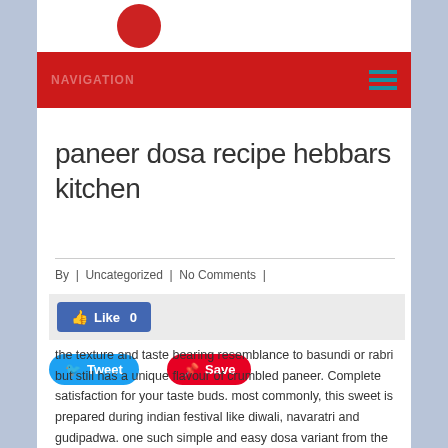NAVIGATION
paneer dosa recipe hebbars kitchen
By | Uncategorized | No Comments |
Like 0
Tweet   Save
the texture and taste bearing resemblance to basundi or rabri but still has a unique flavour of crumbled paneer. Complete satisfaction for your taste buds. most commonly, this sweet is prepared during indian festival like diwali, navaratri and gudipadwa. one such simple and easy dosa variant from the generic dosa batter is the ghee roast dosa recipe made with generous amount of ghee toppings. Reset Sort. moong dal burfi hebbars